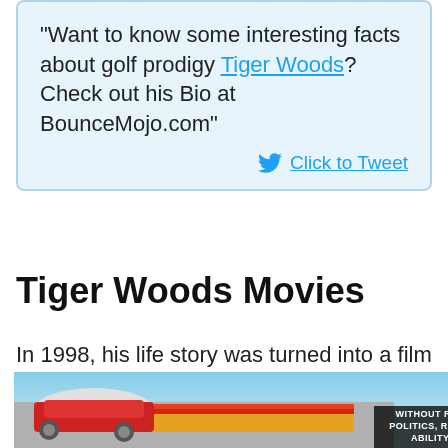“Want to know some interesting facts about golf prodigy Tiger Woods? Check out his Bio at BounceMojo.com”
Click to Tweet
Tiger Woods Movies
In 1998, his life story was turned into a film by LeVar Burton, where it starred Keith David and Khalil Kain. The movie’s title was The Tiger Woods
[Figure (photo): Advertisement banner showing an airplane being loaded with cargo, with a dark overlay reading WITHOUT REGARD TO POLITICS, RELIGION, OR ABILITY TO PAY]